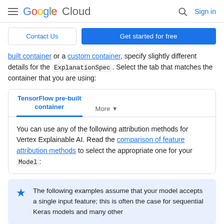Google Cloud — Sign in
Contact Us | Get started for free
built container or a custom container, specify slightly different details for the ExplanationSpec. Select the tab that matches the container that you are using:
TensorFlow pre-built container | More
You can use any of the following attribution methods for Vertex Explainable AI. Read the comparison of feature attribution methods to select the appropriate one for your Model:
The following examples assume that your model accepts a single input feature; this is often the case for sequential Keras models and many other